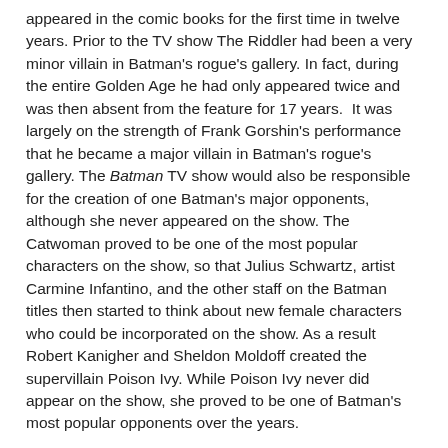appeared in the comic books for the first time in twelve years. Prior to the TV show The Riddler had been a very minor villain in Batman's rogue's gallery. In fact, during the entire Golden Age he had only appeared twice and was then absent from the feature for 17 years.  It was largely on the strength of Frank Gorshin's performance that he became a major villain in Batman's rogue's gallery. The Batman TV show would also be responsible for the creation of one Batman's major opponents, although she never appeared on the show. The Catwoman proved to be one of the most popular characters on the show, so that Julius Schwartz, artist Carmine Infantino, and the other staff on the Batman titles then started to think about new female characters who could be incorporated on the show. As a result Robert Kanigher and Sheldon Moldoff created the supervillain Poison Ivy. While Poison Ivy never did appear on the show, she proved to be one of Batman's most popular opponents over the years.
The popularity of Catwoman on the TV show would also lead to the creation of Batgirl (not to be confused with the earlier "Bat-Girl").  Batgirl was Barbara Gordon, the daughter of